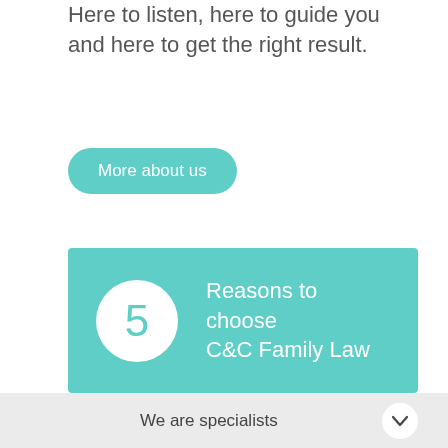Here to listen, here to guide you and here to get the right result.
More about us
[Figure (infographic): Teal banner with white circle containing number 5 and text 'Reasons to choose C&C Family Law']
We are specialists
We speak in plain English
We are clear